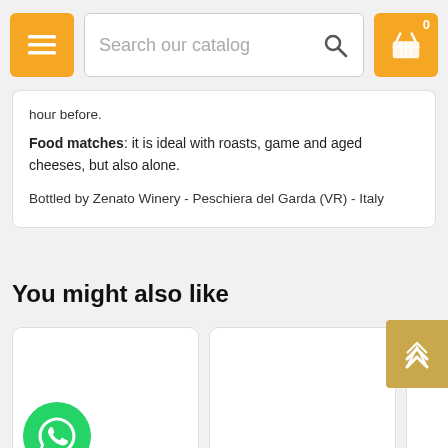[Figure (screenshot): Mobile app header with orange hamburger menu button, search bar with placeholder text 'Search our catalog' and magnifying glass icon, and orange shopping cart icon with badge showing 0]
hour before.
Food matches: it is ideal with roasts, game and aged cheeses, but also alone.
Bottled by Zenato Winery - Peschiera del Garda (VR) - Italy
You might also like
[Figure (screenshot): Product card for Lugana Riserva Sergio Zenato with WhatsApp icon at bottom left]
Lugana Riserva Sergio Zenato
[Figure (screenshot): Product card for Ripassa Valpolicella Ripasso]
Ripassa Valpolicella Ripasso